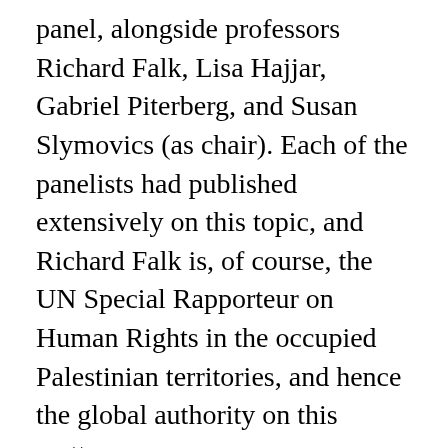panel, alongside professors Richard Falk, Lisa Hajjar, Gabriel Piterberg, and Susan Slymovics (as chair). Each of the panelists had published extensively on this topic, and Richard Falk is, of course, the UN Special Rapporteur on Human Rights in the occupied Palestinian territories, and hence the global authority on this matter.
The panel discussion was only one of three events on Gaza that took place at UCLA around the same time. The other two, sponsored by the UCLA Israel Studies program, were explicitly intended to bring Israeli perspectives, including that of the Israeli Consul in Los Angeles, to campus, and to justify the bombardment of Gaza.
"Human Rights and Gaza" by contrast, was